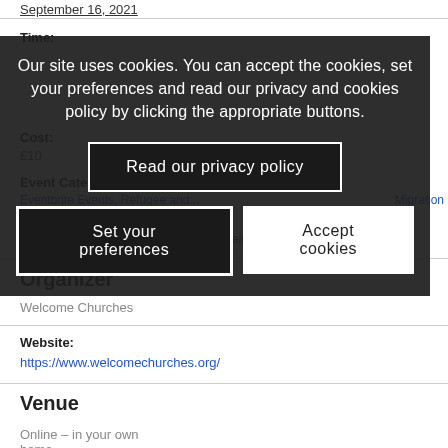September 16, 2021
Time:
Cost:
£10
Event Categories:
Migration
Website:
https://www.eventbrite.co.uk/e/afghan-welcome-training-
Organizer
Welcome Churches
Website:
https://www.welcomechurches.org/
Venue
Online – in your own home
Our site uses cookies. You can accept the cookies, set your preferences and read our privacy and cookies policy by clicking the appropriate buttons.
Read our privacy policy
Set your preferences
Accept cookies